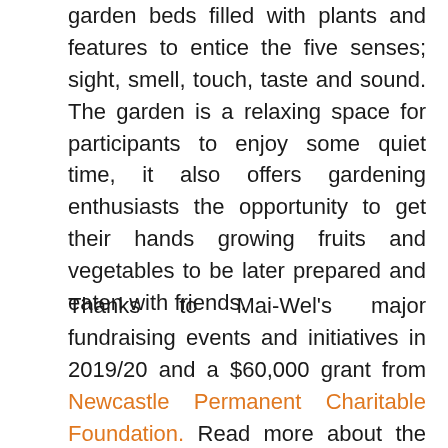garden beds filled with plants and features to entice the five senses; sight, smell, touch, taste and sound. The garden is a relaxing space for participants to enjoy some quiet time, it also offers gardening enthusiasts the opportunity to get their hands growing fruits and vegetables to be later prepared and eaten with friends.
Thanks to Mai-Wel's major fundraising events and initiatives in 2019/20 and a $60,000 grant from Newcastle Permanent Charitable Foundation. Read more about the Sensational Spaces project on the Projects page of this site.3